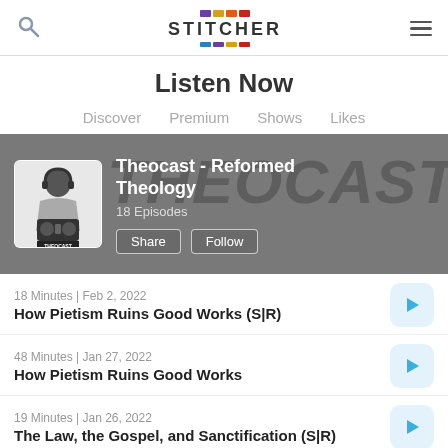Stitcher
Listen Now
Discover  Premium  Shows  Likes
[Figure (screenshot): Theocast - Reformed Theology podcast banner with podcast artwork showing a figure holding a boombox, 18 Episodes, Share and Follow buttons, and watermark text THEOCAST in background]
18 Minutes | Feb 2, 2022
How Pietism Ruins Good Works (S|R)
48 Minutes | Jan 27, 2022
How Pietism Ruins Good Works
19 Minutes | Jan 26, 2022
The Law, the Gospel, and Sanctification (S|R)
45 Minutes | Jan 26, 2022